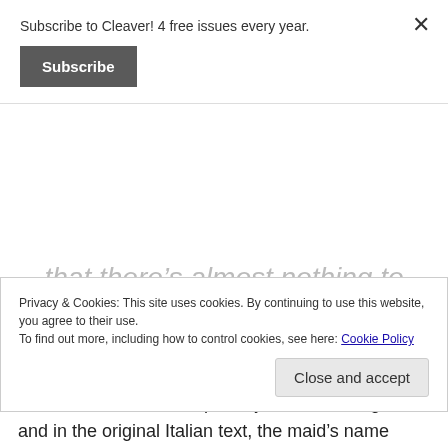Subscribe to Cleaver! 4 free issues every year.
Subscribe
that there's almost nothing to snap the reader out of her reverie.
Lahiri does such an exquisite job of rendering Starnone's prose and in particular his
Privacy & Cookies: This site uses cookies. By continuing to use this website, you agree to their use.
To find out more, including how to control cookies, see here: Cookie Policy
Close and accept
and in the original Italian text, the maid's name